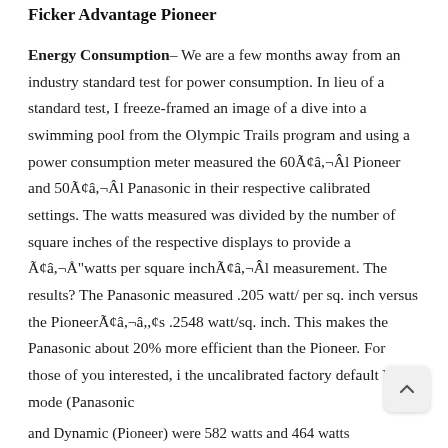Ficker Advantage Pioneer
Energy Consumption– We are a few months away from an industry standard test for power consumption. In lieu of a standard test, I freeze-framed an image of a dive into a swimming pool from the Olympic Trails program and using a power consumption meter measured the 60Ã¢â,¬Âl Pioneer and 50Ã¢â,¬Âl Panasonic in their respective calibrated settings. The watts measured was divided by the number of square inches of the respective displays to provide a Ã¢â,¬Å"watts per square inchÃ¢â,¬Â measurement. The results? The Panasonic measured .205 watt/ per sq. inch versus the PioneerÃ¢â,¬âs .2548 watt/sq. inch. This makes the Panasonic about 20% more efficient than the Pioneer. For those of you interested, in the uncalibrated factory default Vivid mode (Panasonic) and Dynamic (Pioneer) were 582 watts and 464 watts